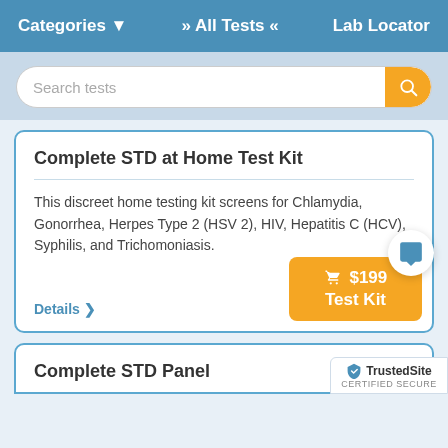Categories ▾   » All Tests «   Lab Locator
Search tests
Complete STD at Home Test Kit
This discreet home testing kit screens for Chlamydia, Gonorrhea, Herpes Type 2 (HSV 2), HIV, Hepatitis C (HCV), Syphilis, and Trichomoniasis.
Details >
🛒 $199 Test Kit
Complete STD Panel
[Figure (logo): TrustedSite Certified Secure badge]